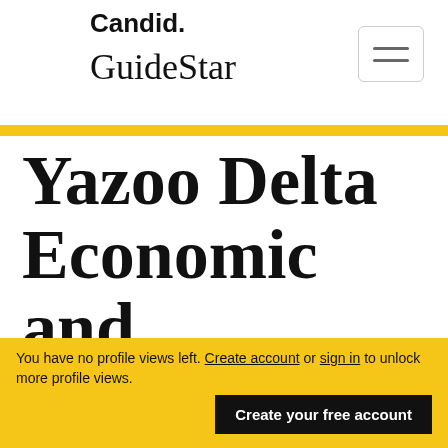Candid. GuideStar
Yazoo Delta Economic and Community Development Inc
You have no profile views left. Create account or sign in to unlock more profile views. Create your free account